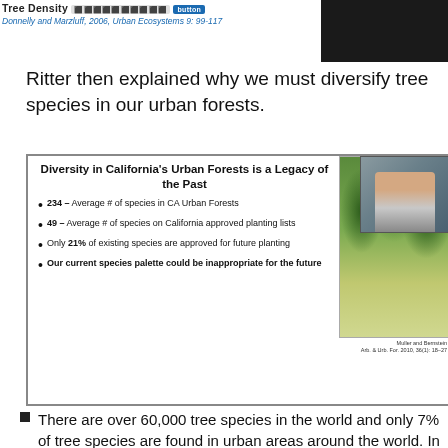[Figure (screenshot): Top portion of a slide showing 'Tree Density' title bar with browser/app UI elements visible, partially cropped]
Donnelly and Marzluff, 2006, Urban Ecosystems 9: 99-117
Ritter then explained why we must diversify tree species in our urban forests.
[Figure (screenshot): Slide titled 'Diversity in California's Urban Forests is a Legacy of the Past' with bullet points: 234 – Average # of species in CA Urban Forests; 49 – Average # of species on California approved planting lists; Only 21% of existing species are approved for future planting; Our current species palette could be inappropriate for the future. Photo of tree-lined path. Citation: Muller and Bernstein, Arb. & Urb. For. 2010, 36(1): 18-27. Webcam inset of presenter.]
There are over 60,000 tree species in the world and only 7% of tree species are found in urban areas around the world.  In California our urban forests are